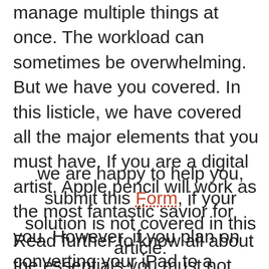manage multiple things at once. The workload can sometimes be overwhelming. But we have you covered. In this listicle, we have covered all the major elements that you must have. If you are a digital artist, Apple pencil will work as the most fantastic savior for you. However, if you plan on converting your iPad to a laptop, have a look at the range of keyboards we recommend for you.
we are happy to help you, submit this Form, if your solution is not covered in this article.
Read further to know all about the essentials you must not miss out on, and grab them from